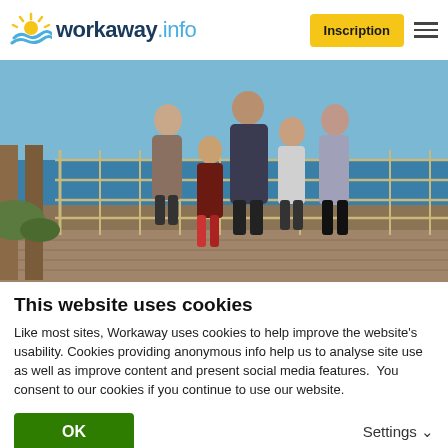workaway.info — Inscription
[Figure (photo): Family of five posing on a wooden deck with metal railings, ocean and blue sky in background. Adults and children smiling, casual clothing.]
This website uses cookies
Like most sites, Workaway uses cookies to help improve the website's usability. Cookies providing anonymous info help us to analyse site use as well as improve content and present social media features.  You consent to our cookies if you continue to use our website.
OK
Settings